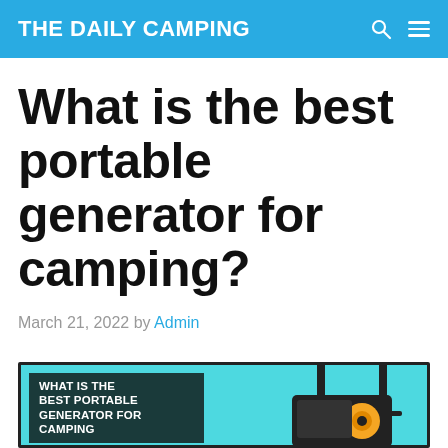THE DAILY CAMPING
What is the best portable generator for camping?
March 21, 2022 by Admin
[Figure (illustration): Featured image showing a portable generator on a teal background with dark overlay text reading WHAT IS THE BEST PORTABLE GENERATOR FOR CAMPING]